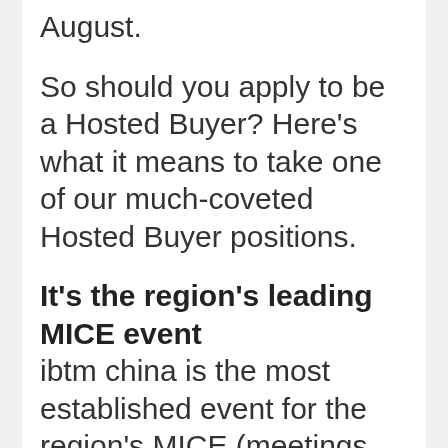August.
So should you apply to be a Hosted Buyer? Here's what it means to take one of our much-coveted Hosted Buyer positions.
It's the region's leading MICE event
ibtm china is the most established event for the region's MICE (meetings, incentives, conferences and events) industry and has grown exponentially year on year, attracting more than 5,000 global event industry professionals at its 2016 show.